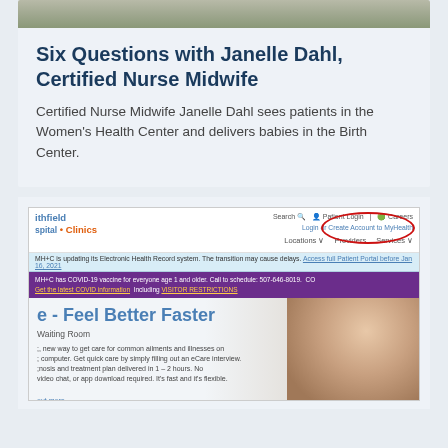[Figure (photo): Partial photo of a person at the top of the first card, cropped, showing torso/background]
Six Questions with Janelle Dahl, Certified Nurse Midwife
Certified Nurse Midwife Janelle Dahl sees patients in the Women's Health Center and delivers babies in the Birth Center.
[Figure (screenshot): Screenshot of Northfield Hospital + Clinics website showing navigation bar with logo, COVID-19 alert banners (purple), red circle annotation around Patient Portal link, and hero section with 'e - Feel Better Faster' heading, 'Waiting Room' text, and a woman looking at phone]